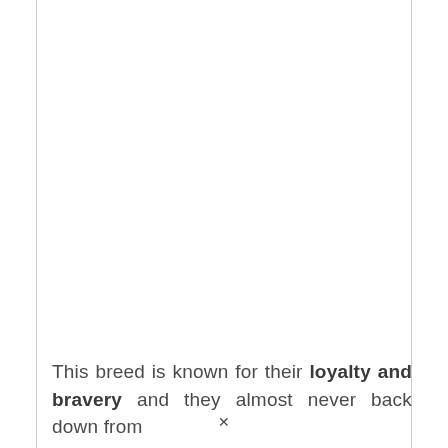This breed is known for their loyalty and bravery and they almost never back down from